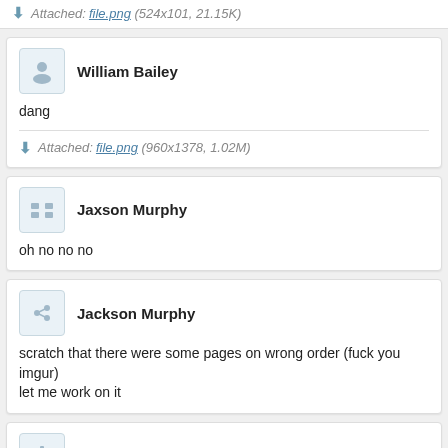Attached: file.png (524x101, 21.15K)
William Bailey
dang
Attached: file.png (960x1378, 1.02M)
Jaxson Murphy
oh no no no
Jackson Murphy
scratch that there were some pages on wrong order (fuck you imgur)
let me work on it
Brody Wilson